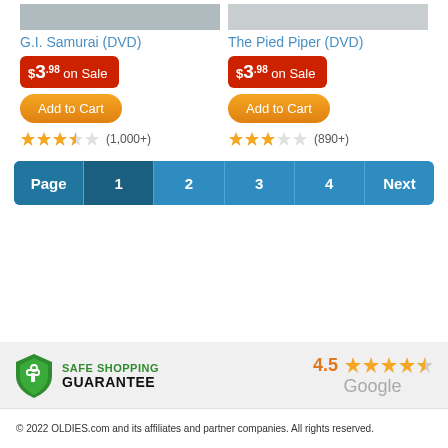G.I. Samurai (DVD)
$3.98 on Sale
Add to Cart
(1,000+)
The Pied Piper (DVD)
$3.98 on Sale
Add to Cart
(890+)
Page 1 2 3 4 Next
[Figure (logo): Safe Shopping Guarantee shield logo with green shield icon, green text SAFE SHOPPING and black text GUARANTEE]
4.5 Google
© 2022 OLDIES.com and its affiliates and partner companies. All rights reserved.